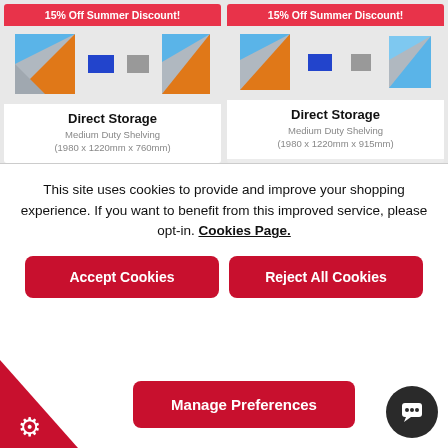[Figure (screenshot): Product card for Direct Storage Medium Duty Shelving with 15% Off Summer Discount banner and product images]
Direct Storage
Medium Duty Shelving
(1980 x 1220mm x 760mm)
[Figure (screenshot): Product card for Direct Storage Medium Duty Shelving with 15% Off Summer Discount banner and product images]
Direct Storage
Medium Duty Shelving
(1980 x 1220mm x 915mm)
This site uses cookies to provide and improve your shopping experience. If you want to benefit from this improved service, please opt-in. Cookies Page.
Accept Cookies
Reject All Cookies
Manage Preferences